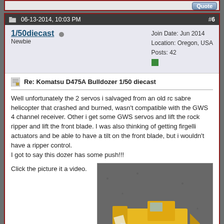#6 post header: 06-13-2014, 10:03 PM
1/50diecast
Newbie
Join Date: Jun 2014
Location: Oregon, USA
Posts: 42
Re: Komatsu D475A Bulldozer 1/50 diecast
Well unfortunately the 2 servos i salvaged from an old rc sabre helicopter that crashed and burned, wasn't compatible with the GWS 4 channel receiver. Other i get some GWS servos and lift the rock ripper and lift the front blade. I was also thinking of getting firgelli actuators and be able to have a tilt on the front blade, but i wouldn't have a ripper control.
I got to say this dozer has some push!!!
Click the picture it a video.
[Figure (photo): Photo of a yellow 1/50 scale Komatsu D475A bulldozer diecast model placed on dark asphalt/gravel surface, with some papers/packaging around it.]
06-13-2014, 10:11 PM  #7